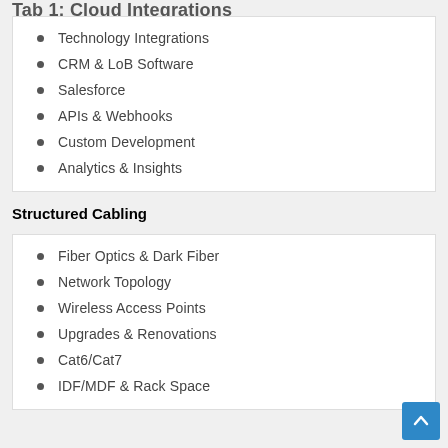Tab 1: Cloud Integrations
Technology Integrations
CRM & LoB Software
Salesforce
APIs & Webhooks
Custom Development
Analytics & Insights
Structured Cabling
Fiber Optics & Dark Fiber
Network Topology
Wireless Access Points
Upgrades & Renovations
Cat6/Cat7
IDF/MDF & Rack Space